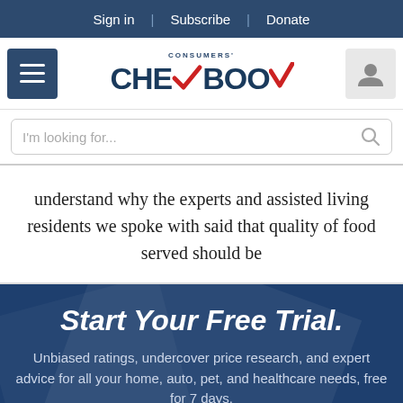Sign in | Subscribe | Donate
[Figure (logo): Consumers' Checkbook logo with hamburger menu and user icon]
I'm looking for...
understand why the experts and assisted living residents we spoke with said that quality of food served should be
Start Your Free Trial.
Unbiased ratings, undercover price research, and expert advice for all your home, auto, pet, and healthcare needs, free for 7 days.
GET STARTED
NO THANKS, MAYBE LATER.